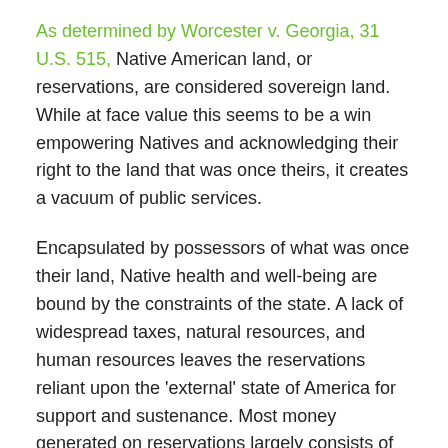As determined by Worcester v. Georgia, 31 U.S. 515, Native American land, or reservations, are considered sovereign land. While at face value this seems to be a win empowering Natives and acknowledging their right to the land that was once theirs, it creates a vacuum of public services.
Encapsulated by possessors of what was once their land, Native health and well-being are bound by the constraints of the state. A lack of widespread taxes, natural resources, and human resources leaves the reservations reliant upon the 'external' state of America for support and sustenance. Most money generated on reservations largely consists of gambling and casino money—practices usually outlawed in the surrounding states. This money only goes so far in providing for the tribe as money often stays within certain families, leaving the rest of the